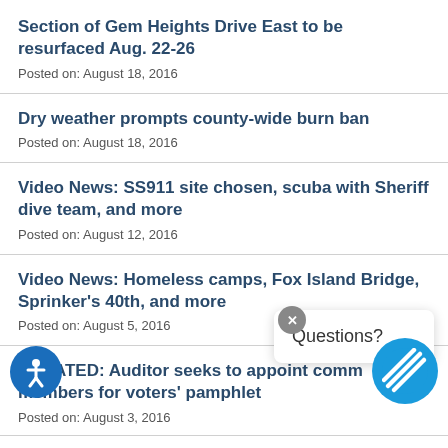Section of Gem Heights Drive East to be resurfaced Aug. 22-26
Posted on: August 18, 2016
Dry weather prompts county-wide burn ban
Posted on: August 18, 2016
Video News: SS911 site chosen, scuba with Sheriff dive team, and more
Posted on: August 12, 2016
Video News: Homeless camps, Fox Island Bridge, Sprinker's 40th, and more
Posted on: August 5, 2016
UPDATED: Auditor seeks to appoint committee members for voters' pamphlet
Posted on: August 3, 2016
Auditor seeks to appoint committee members for